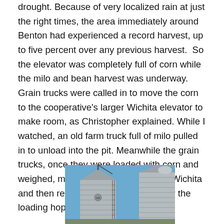drought. Because of very localized rain at just the right times, the area immediately around Benton had experienced a record harvest, up to five percent over any previous harvest.  So the elevator was completely full of corn while the milo and bean harvest was underway. Grain trucks were called in to move the corn to the cooperative's larger Wichita elevator to make room, as Christopher explained. While I watched, an old farm truck full of milo pulled in to unload into the pit. Meanwhile the grain trucks, once they were loaded with corn and weighed, made the nine-mile trip into Wichita and then returned for more, waiting for the loading hopper to fill before filling up.
[Figure (photo): Photograph of two large grain silos (corrugated metal cylindrical bins) against a blue sky, with equipment and scaffolding visible.]